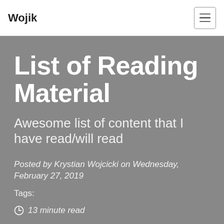Wojik
List of Reading Material
Awesome list of content that I have read/will read
Posted by Krystian Wojcicki on Wednesday, February 27, 2019
Tags:
13 minute read